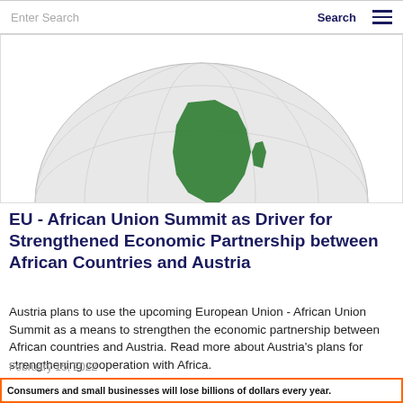Enter Search  Search
[Figure (illustration): Globe showing Africa highlighted in green, displayed from a slightly elevated perspective with grid lines visible on the globe surface.]
EU - African Union Summit as Driver for Strengthened Economic Partnership between African Countries and Austria
Austria plans to use the upcoming European Union - African Union Summit as a means to strengthen the economic partnership between African countries and Austria. Read more about Austria's plans for strengthening cooperation with Africa.
February 15, 2022
[Figure (screenshot): Partial advertisement banner with orange border reading: Consumers and small businesses will lose billions of dollars every year.]